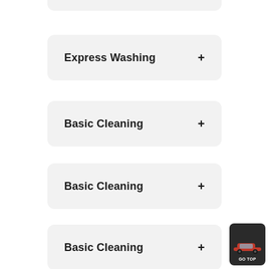Express Washing +
Basic Cleaning +
Basic Cleaning +
Basic Cleaning +
[Figure (screenshot): GO TOP button with red car icon at bottom right]